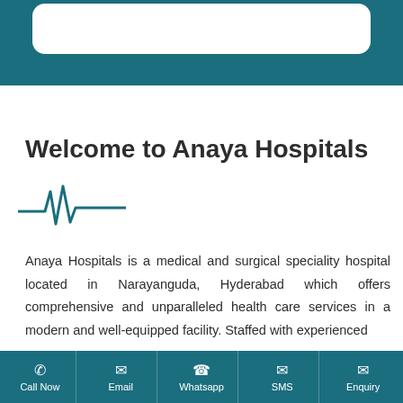[Figure (other): Teal header bar with white rounded card/search bar at the top of the page]
Welcome to Anaya Hospitals
[Figure (other): Heartbeat / ECG pulse line icon in teal color]
Anaya Hospitals is a medical and surgical speciality hospital located in Narayanguda, Hyderabad which offers comprehensive and unparalleled health care services in a modern and well-equipped facility. Staffed with experienced
Call Now  Email  Whatsapp  SMS  Enquiry